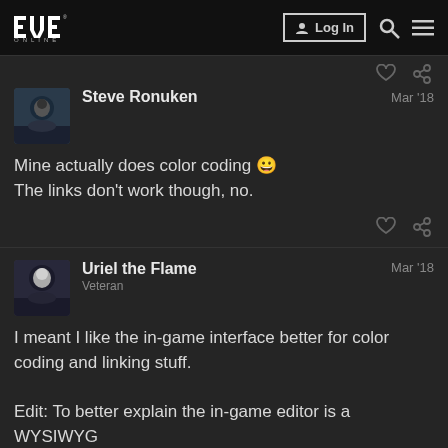EVE ONLINE — Log In
Steve Ronuken  Mar '18
Mine actually does color coding 😀
The links don't work though, no.
Uriel the Flame  Veteran  Mar '18
I meant I like the in-game interface better for color coding and linking stuff.

Edit: To better explain the in-game editor is a WYSIWYG